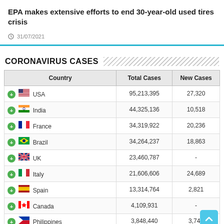EPA makes extensive efforts to end 30-year-old used tires crisis
31/07/2021
CORONAVIRUS CASES
| Country | Total Cases | New Cases |
| --- | --- | --- |
| USA | 95,213,395 | 27,320 |
| India | 44,325,136 | 10,518 |
| France | 34,319,922 | 20,236 |
| Brazil | 34,264,237 | 18,863 |
| UK | 23,460,787 | - |
| Italy | 21,606,606 | 24,689 |
| Spain | 13,314,764 | 2,821 |
| Canada | 4,109,931 | - |
| Philippines | 3,848,440 | 3,748 |